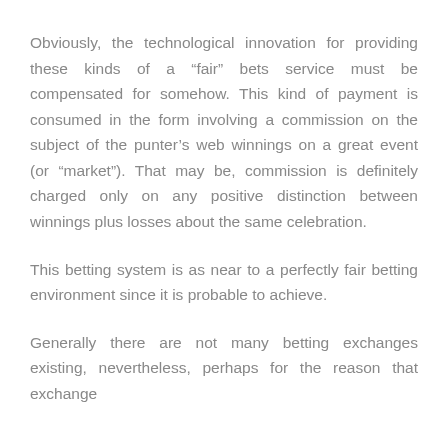Obviously, the technological innovation for providing these kinds of a “fair” bets service must be compensated for somehow. This kind of payment is consumed in the form involving a commission on the subject of the punter’s web winnings on a great event (or “market”). That may be, commission is definitely charged only on any positive distinction between winnings plus losses about the same celebration.
This betting system is as near to a perfectly fair betting environment since it is probable to achieve.
Generally there are not many betting exchanges existing, nevertheless, perhaps for the reason that exchange